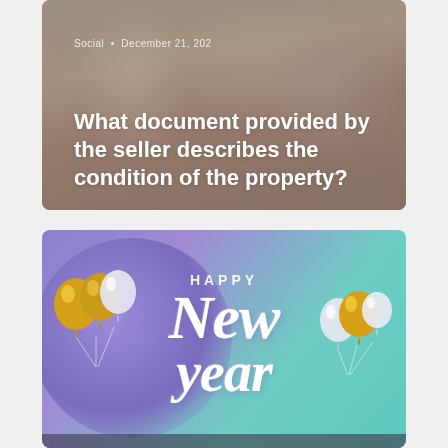[Figure (photo): Photo card showing people signing documents, with overlay text. Meta tag reads 'Social • December 21, 202'. Title: 'What document provided by the seller describes the condition of the property?']
[Figure (illustration): Happy New Year greeting card with purple-to-teal gradient background, decorative balloons (gold and silver/white), and stylized script text reading 'HAPPY New Year']